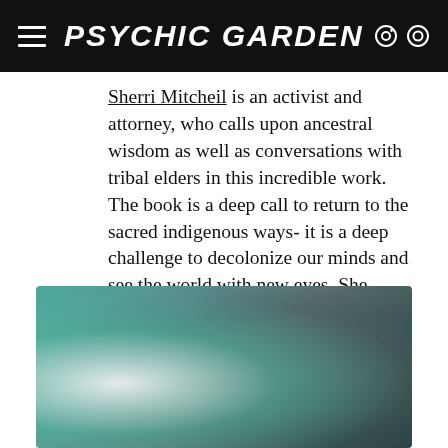PSYCHIC GARDEN
Sherri Mitcheil is an activist and attorney, who calls upon ancestral wisdom as well as conversations with tribal elders in this incredible work. The book is a deep call to return to the sacred indigenous ways- it is a deep challenge to decolonize our minds and see the world with new eyes. She tackles issues from loneliness to environmentalism and everything in-between. This is not just a book, it is a prayer, it is sacred medicine for the soul.
[Figure (photo): Blurred abstract photo with teal and dark grey gradient tones, appearing to show a soft-focus nature or abstract scene.]